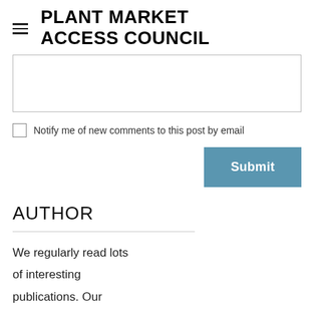PLANT MARKET ACCESS COUNCIL
[Figure (screenshot): Textarea input box (partially visible, cropped at top)]
Notify me of new comments to this post by email
[Figure (screenshot): Submit button (blue)]
AUTHOR
We regularly read lots of interesting publications. Our